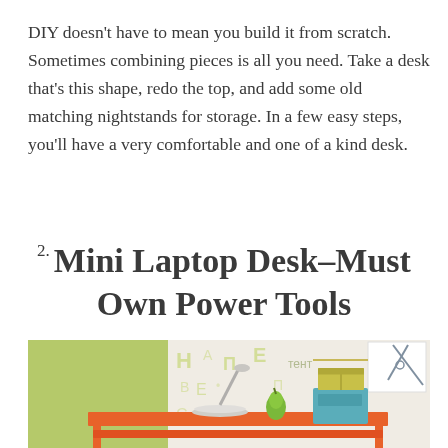DIY doesn't have to mean you build it from scratch. Sometimes combining pieces is all you need. Take a desk that's this shape, redo the top, and add some old matching nightstands for storage. In a few easy steps, you'll have a very comfortable and one of a kind desk.
2. Mini Laptop Desk–Must Own Power Tools
[Figure (photo): Photo of a mini orange wooden desk/shelf with a lamp, pear, teal storage box, and colorful letter wallpaper in the background]